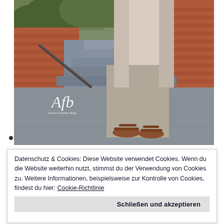[Figure (photo): Outdoor fashion photo showing a person's lower body wearing light gray wide-leg trousers and brown sandals, standing on a stone pavement next to a brick wall with stairs and green plants in the background. A script logo 'AfB - Alexis Fassbas Blog' is visible in the lower left of the image.]
•
Datenschutz & Cookies: Diese Website verwendet Cookies. Wenn du die Website weiterhin nutzt, stimmst du der Verwendung von Cookies zu. Weitere Informationen, beispielsweise zur Kontrolle von Cookies, findest du hier: Cookie-Richtlinie
Schließen und akzeptieren